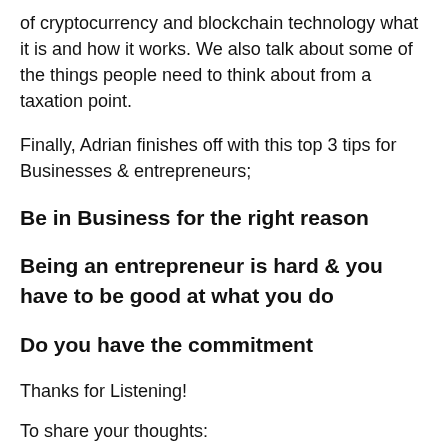of cryptocurrency and blockchain technology what it is and how it works. We also talk about some of the things people need to think about from a taxation point.
Finally, Adrian finishes off with this top 3 tips for Businesses & entrepreneurs;
Be in Business for the right reason
Being an entrepreneur is hard & you have to be good at what you do
Do you have the commitment
Thanks for Listening!
To share your thoughts: